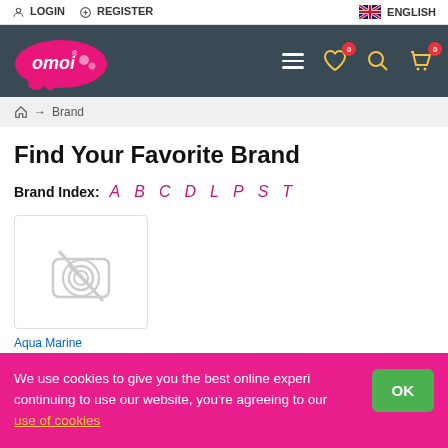LOGIN  REGISTER  ENGLISH
[Figure (logo): Omoi logo with pink bubble design and navigation bar with hamburger menu, heart icon with badge 0, search icon, cart icon with badge 0]
⌂ → Brand
Find Your Favorite Brand
Brand Index: A B C D L P S T
[Figure (photo): No image placeholder icon (camera with slash) inside a bordered box]
Aqua Marine
We use cookies to give you the best online experience. By continuing to use our website, you're agreeing to our use of cookies